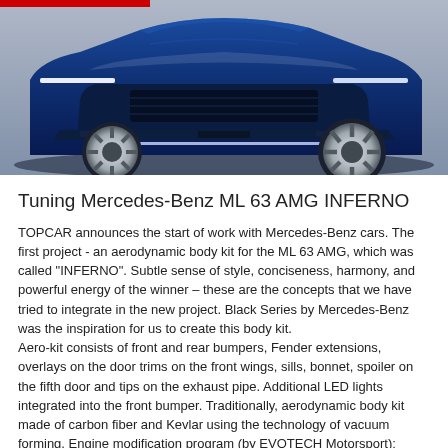[Figure (photo): Front view of a blue Mercedes-Benz ML 63 AMG INFERNO tuned car with aggressive body kit, wide fenders, LED lights in the front bumper, and large alloy wheels]
Tuning Mercedes-Benz ML 63 AMG INFERNO
TOPCAR announces the start of work with Mercedes-Benz cars. The first project - an aerodynamic body kit for the ML 63 AMG, which was called "INFERNO". Subtle sense of style, conciseness, harmony, and powerful energy of the winner – these are the concepts that we have tried to integrate in the new project. Black Series by Mercedes-Benz was the inspiration for us to create this body kit.
Aero-kit consists of front and rear bumpers, Fender extensions, overlays on the door trims on the front wings, sills, bonnet, spoiler on the fifth door and tips on the exhaust pipe. Additional LED lights integrated into the front bumper. Traditionally, aerodynamic body kit made of carbon fiber and Kevlar using the technology of vacuum forming. Engine modification program (by EVOTECH Motorsport):
1. Increasing power to 640 hp and torque to 980 Nm
2. Increasing power to 690 hp and torque up to 1,100 Nm
3. Increasing power to 760 hp and torque to 1150 Nm